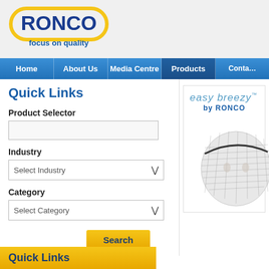[Figure (logo): RONCO logo — yellow rounded rectangle outline with bold dark blue RONCO text inside, and 'focus on quality' tagline in blue italic below]
[Figure (screenshot): Navigation bar with Home, About Us, Media Centre, Products, Contact menu items on blue background]
Quick Links
Product Selector
Industry
Select Industry
Category
Select Category
Search
Quick Links
[Figure (photo): easy breezy by RONCO product panel showing a hair net/bouffant cap on a head, white and mesh texture]